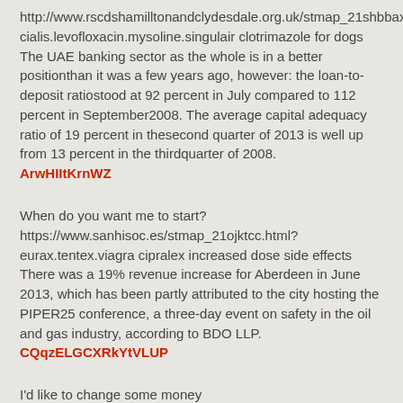http://www.rscdshamilltonandclydesdale.org.uk/stmap_21shbbax.html?cialis.levofloxacin.mysoline.singulair clotrimazole for dogs The UAE banking sector as the whole is in a better positionthan it was a few years ago, however: the loan-to-deposit ratiostood at 92 percent in July compared to 112 percent in September2008. The average capital adequacy ratio of 19 percent in thesecond quarter of 2013 is well up from 13 percent in the thirdquarter of 2008.
ArwHIItKrnWZ
When do you want me to start? https://www.sanhisoc.es/stmap_21ojktcc.html?eurax.tentex.viagra cipralex increased dose side effects There was a 19% revenue increase for Aberdeen in June 2013, which has been partly attributed to the city hosting the PIPER25 conference, a three-day event on safety in the oil and gas industry, according to BDO LLP.
CQqzELGCXRkYtVLUP
I'd like to change some money https://www.sanhisoc.es/stmap_64mvltdi.html?doxepin.nolvadex.droxia.viagra montelukast 4mg chewable tablets "This brings into sharp focus once again the very precarious nature of the transportation of workers to and from offshore platforms. The health and